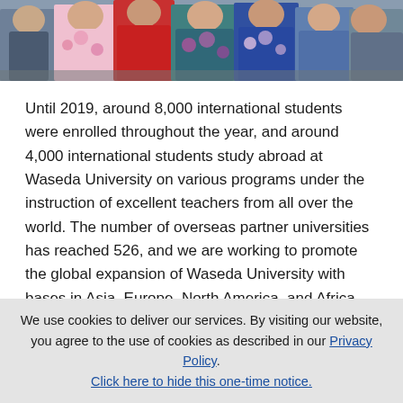[Figure (photo): Group of people wearing traditional Japanese kimono/yukata clothing, seated, cropped at torso level showing the colorful floral patterns of their garments.]
Until 2019, around 8,000 international students were enrolled throughout the year, and around 4,000 international students study abroad at Waseda University on various programs under the instruction of excellent teachers from all over the world. The number of overseas partner universities has reached 526, and we are working to promote the global expansion of Waseda University with bases in Asia, Europe, North America, and Africa.
We use cookies to deliver our services. By visiting our website, you agree to the use of cookies as described in our Privacy Policy. Click here to hide this one-time notice.